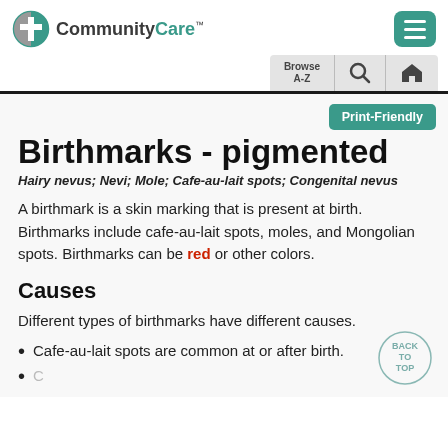CommunityCare
Birthmarks - pigmented
Hairy nevus; Nevi; Mole; Cafe-au-lait spots; Congenital nevus
A birthmark is a skin marking that is present at birth. Birthmarks include cafe-au-lait spots, moles, and Mongolian spots. Birthmarks can be red or other colors.
Causes
Different types of birthmarks have different causes.
Cafe-au-lait spots are common at or after birth.